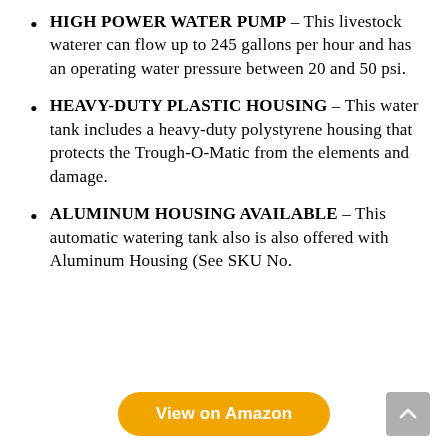HIGH POWER WATER PUMP – This livestock waterer can flow up to 245 gallons per hour and has an operating water pressure between 20 and 50 psi.
HEAVY-DUTY PLASTIC HOUSING – This water tank includes a heavy-duty polystyrene housing that protects the Trough-O-Matic from the elements and damage.
ALUMINUM HOUSING AVAILABLE – This automatic watering tank also is also offered with Aluminum Housing (See SKU No.
View on Amazon